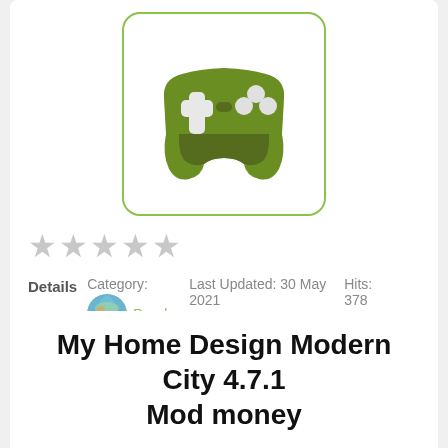[Figure (illustration): Google Play Games controller icon — green game controller on white background with green rounded-rectangle border]
★★★★★ (empty stars, gray)
Details  Category: Puzzle  Last Updated: 30 May 2021  Hits: 378
Download Harry Potter Puzzles & Spells Match 3 Magic 32.0.701 Mod money ✅
My Home Design Modern City 4.7.1 Mod money